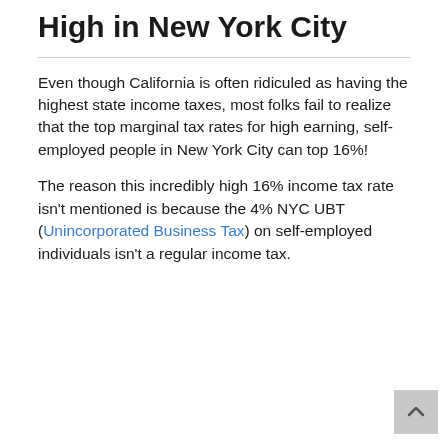High in New York City
Even though California is often ridiculed as having the highest state income taxes, most folks fail to realize that the top marginal tax rates for high earning, self-employed people in New York City can top 16%!
The reason this incredibly high 16% income tax rate isn't mentioned is because the 4% NYC UBT (Unincorporated Business Tax) on self-employed individuals isn't a regular income tax.